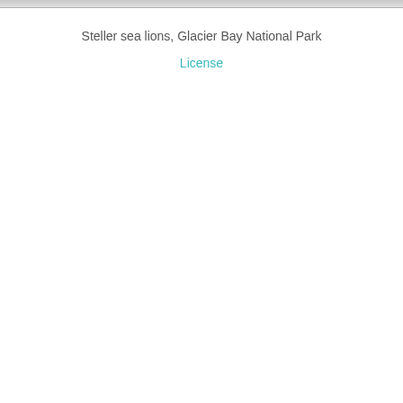[Figure (photo): Partial view of an image strip at the top of the page showing what appears to be sea lions or coastal scenery — heavily cropped, only the bottom edge visible.]
Steller sea lions, Glacier Bay National Park
License